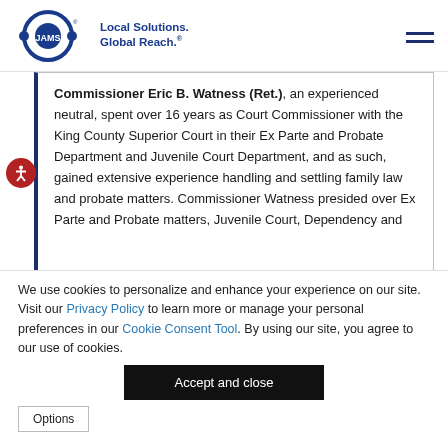JAMS — Local Solutions. Global Reach.
Commissioner Eric B. Watness (Ret.), an experienced neutral, spent over 16 years as Court Commissioner with the King County Superior Court in their Ex Parte and Probate Department and Juvenile Court Department, and as such, gained extensive experience handling and settling family law and probate matters. Commissioner Watness presided over Ex Parte and Probate matters, Juvenile Court, Dependency and
We use cookies to personalize and enhance your experience on our site. Visit our Privacy Policy to learn more or manage your personal preferences in our Cookie Consent Tool. By using our site, you agree to our use of cookies.
Accept and close
Options